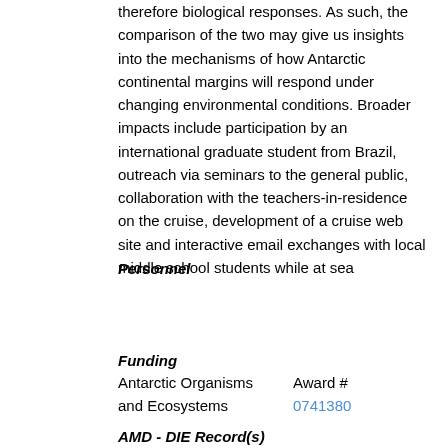therefore biological responses. As such, the comparison of the two may give us insights into the mechanisms of how Antarctic continental margins will respond under changing environmental conditions. Broader impacts include participation by an international graduate student from Brazil, outreach via seminars to the general public, collaboration with the teachers-in-residence on the cruise, development of a cruise web site and interactive email exchanges with local middle school students while at sea
Personnel
| Person | Role |
| --- | --- |
| Smith, Walker | Investigator |
Funding
Antarctic Organisms and Ecosystems    Award #
0741380
AMD - DIE Record(s)